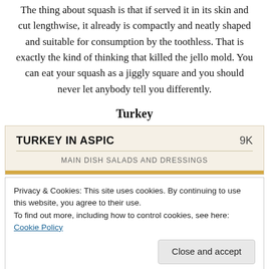The thing about squash is that if served it in its skin and cut lengthwise, it already is compactly and neatly shaped and suitable for consumption by the toothless. That is exactly the kind of thinking that killed the jello mold. You can eat your squash as a jiggly square and you should never let anybody tell you differently.
Turkey
[Figure (other): Recipe card with tan/beige background showing 'TURKEY IN ASPIC' title, '9K' count, 'MAIN DISH SALADS AND DRESSINGS' subtitle, and an orange horizontal bar at the bottom.]
Privacy & Cookies: This site uses cookies. By continuing to use this website, you agree to their use.
To find out more, including how to control cookies, see here: Cookie Policy
[Figure (photo): Partial photo at bottom showing food, appears orange/golden colored.]